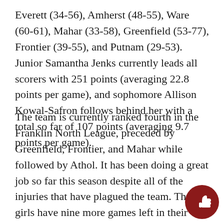Everett (34-56), Amherst (48-55), Ware (60-61), Mahar (33-58), Greenfield (53-77), Frontier (39-55), and Putnam (29-53). Junior Samantha Jenks currently leads all scorers with 251 points (averaging 22.8 points per game), and sophomore Allison Kowal-Safron follows behind her with a total so far of 107 points (averaging 9.7 points per game).
The team is currently ranked fourth in the Franklin North League, preceded by Greenfield, Frontier, and Mahar while followed by Athol. It has been doing a great job so far this season despite all of the injuries that have plagued the team. The girls have nine more games left in their regular season, against Ware (January 26th), Pioneer Valley (January 30th), Easthampton (January 31st), Athol twice (February 2nd and 9th), Mahar (February 6th), Greenfield (February 13th), and Frontier (February 16th). The team will also play against Easthampton a second time, as the game that was originally scheduled a few weeks prior was postponed due to floor
[Figure (illustration): Dark red circular thumbs-up icon in the bottom right corner]